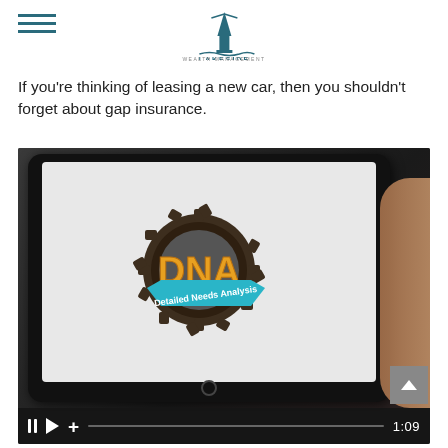Lakeside Wealth Management
If you're thinking of leasing a new car, then you shouldn't forget about gap insurance.
[Figure (screenshot): Video player showing a tablet device displaying a DNA (Detailed Needs Analysis) badge logo with gear/badge design in gold and teal colors. Video controls bar at bottom shows pause, play, plus buttons, a progress bar, and timestamp 1:09.]